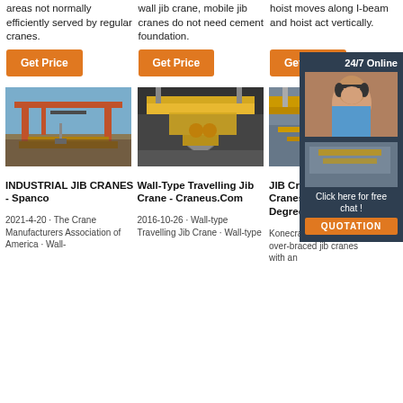areas not normally efficiently served by regular cranes.
wall jib crane, mobile jib cranes do not need cement foundation.
hoist moves along I-beam and hoist act vertically.
Get Price
Get Price
Get Price
[Figure (photo): Industrial gantry crane in shipyard, red steel structure against blue sky]
[Figure (photo): Yellow overhead crane with clamshell bucket grabbing metal scrap in factory]
[Figure (photo): Industrial crane in factory warehouse overhead view]
[Figure (infographic): Advertisement overlay: 24/7 Online customer service agent with headset, factory image, Click here for free chat, QUOTATION button]
INDUSTRIAL JIB CRANES - Spanco
2021-4-20 · The Crane Manufacturers Association of America · Wall-
Wall-Type Travelling Jib Crane - Craneus.Com
2016-10-26 · Wall-type Travelling Jib Crane · Wall-type
JIB Crane - JIB Cranes-Swivel 360 Degree Manufactur
Konecranes offers both over-braced jib cranes with an